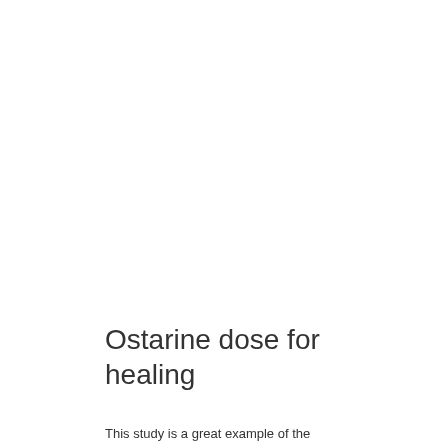Ostarine dose for healing
This study is a great example of the